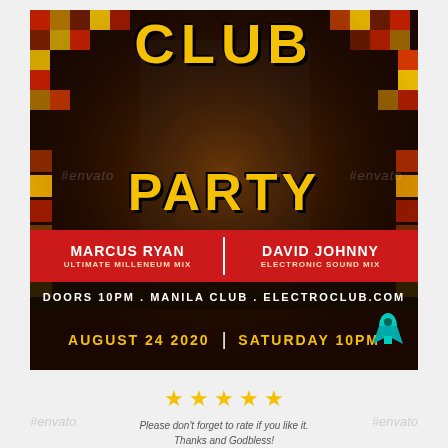[Figure (illustration): Club Party event flyer with pixelated red/yellow/dark background and a black-and-white photo of a male DJ in the center. Large bold yellow text reads CLUB on top and PARTY below. Red banner with DJ names: MARCUS RYAN / ULTIMATE MILLENEUM MIX and DAVID JOHNNY / ELECTRONIC SOUND MIX. Dark bar reads: DOORS 10PM . MANILA CLUB . ELECTROCLUB.COM. Yellow text: AUGUST 24 2020 | SATURDAY 10PM. Envato watermark and teal rocket logo visible.]
[Figure (illustration): Five gold stars rating row]
Please don't forget to rate if you like it. Thanks and Godbless!